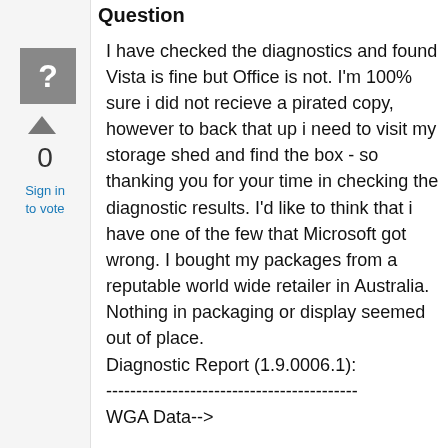Question
[Figure (other): Gray square icon with white question mark]
0
Sign in
to vote
I have checked the diagnostics and found Vista is fine but Office is not.  I'm 100% sure i did not recieve a pirated copy, however to back that up i need to visit my storage shed and find the box - so thanking you for your time in checking the diagnostic results.  I'd like to think that i have one of the few that Microsoft got wrong.  I bought my packages from a reputable world wide retailer in Australia.  Nothing in packaging or display seemed out of place.
Diagnostic Report (1.9.0006.1):
------------------------------------------
WGA Data-->